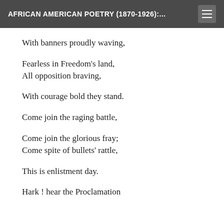AFRICAN AMERICAN POETRY (1870-1926):...
With banners proudly waving,
Fearless in Freedom's land,
All opposition braving,
With courage bold they stand.
Come join the raging battle,
Come join the glorious fray;
Come spite of bullets' rattle,
This is enlistment day.
Hark ! hear the Proclamation